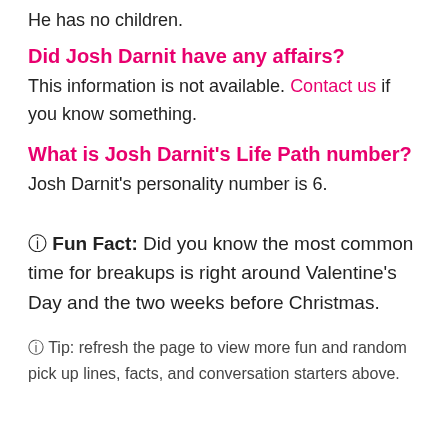He has no children.
Did Josh Darnit have any affairs?
This information is not available. Contact us if you know something.
What is Josh Darnit's Life Path number?
Josh Darnit's personality number is 6.
🛈 Fun Fact: Did you know the most common time for breakups is right around Valentine's Day and the two weeks before Christmas.
🛈 Tip: refresh the page to view more fun and random pick up lines, facts, and conversation starters above.